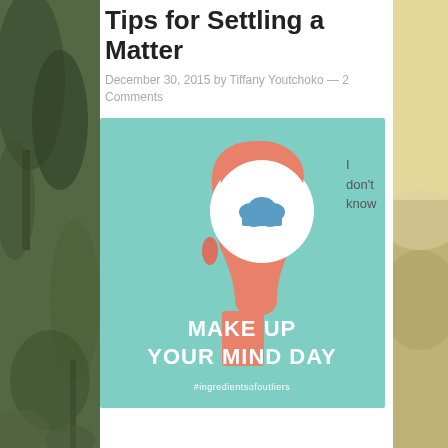Tips for Settling a Matter
December 30, 2015 by Tiffany Youtchoko — 2 Comments
[Figure (illustration): Illustrated square image with teal background showing a salmon/coral colored silhouette of a human head in profile with a white circular brain area containing a blue cloud shape. Text reads MAKE UP YOUR MIND DAY in white bold letters, with #ingredientsofoutliers below.]
I don't know